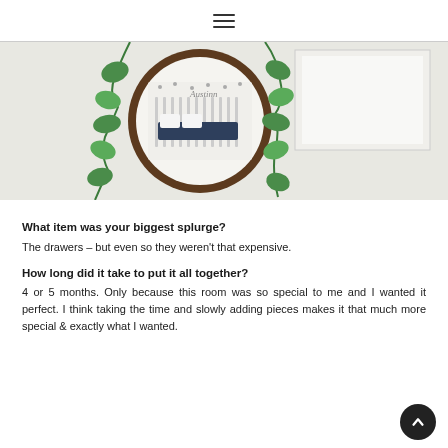≡
[Figure (photo): A nursery room reflected in a round wooden-framed mirror. Green ivy trailing beside it, white crib with navy star bedding visible in the reflection, white walls with polka dot wallpaper, framed artwork in background.]
What item was your biggest splurge?
The drawers – but even so they weren't that expensive.
How long did it take to put it all together?
4 or 5 months. Only because this room was so special to me and I wanted it perfect. I think taking the time and slowly adding pieces makes it that much more special & exactly what I wanted.